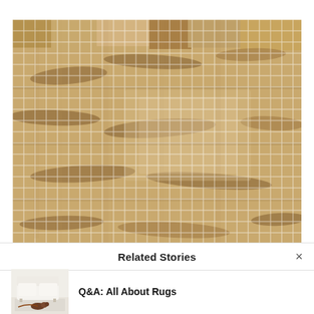[Figure (photo): Close-up photograph of a woven jute/sisal rug texture showing natural fiber weave pattern with white grid overlay and varying shades of tan, beige, and brown]
Related Stories
[Figure (photo): Small thumbnail image showing a white sofa with a rug underneath and a dog lying on the floor]
Q&A: All About Rugs